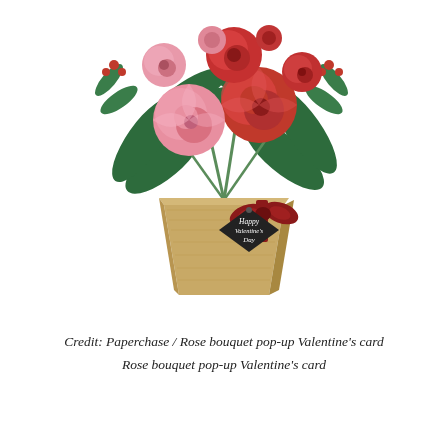[Figure (illustration): A paper pop-up Valentine's card showing a bouquet of pink and red roses with green leaves emerging from a kraft paper box/pot decorated with a dark gift tag reading 'Happy Valentine's Day' and a red ribbon bow.]
Credit: Paperchase / Rose bouquet pop-up Valentine's card
Rose bouquet pop-up Valentine's card